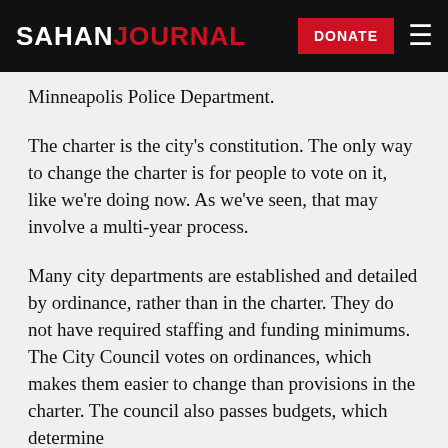SAHAN JOURNAL
Minneapolis Police Department.
The charter is the city’s constitution. The only way to change the charter is for people to vote on it, like we’re doing now. As we’ve seen, that may involve a multi-year process.
Many city departments are established and detailed by ordinance, rather than in the charter. They do not have required staffing and funding minimums. The City Council votes on ordinances, which makes them easier to change than provisions in the charter. The council also passes budgets, which determine...